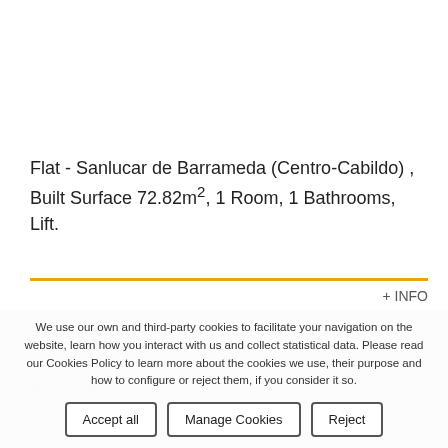Flat - Sanlucar de Barrameda (Centro-Cabildo) , Built Surface 72.82m², 1 Room, 1 Bathrooms, Lift.
+ INFO
QUESTION?
We use our own and third-party cookies to facilitate your navigation on the website, learn how you interact with us and collect statistical data. Please read our Cookies Policy to learn more about the cookies we use, their purpose and how to configure or reject them, if you consider it so.
Accept all
Manage Cookies
Reject